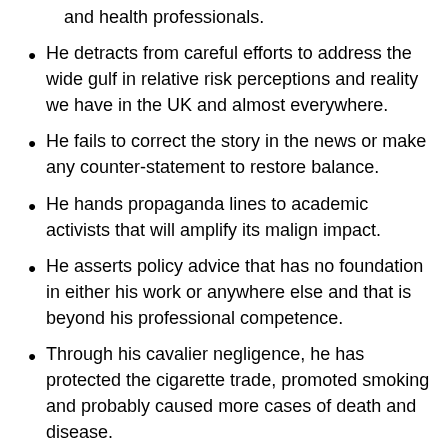and health professionals.
He detracts from careful efforts to address the wide gulf in relative risk perceptions and reality we have in the UK and almost everywhere.
He fails to correct the story in the news or make any counter-statement to restore balance.
He hands propaganda lines to academic activists that will amplify its malign impact.
He asserts policy advice that has no foundation in either his work or anywhere else and that is beyond his professional competence.
Through his cavalier negligence, he has protected the cigarette trade, promoted smoking and probably caused more cases of death and disease.